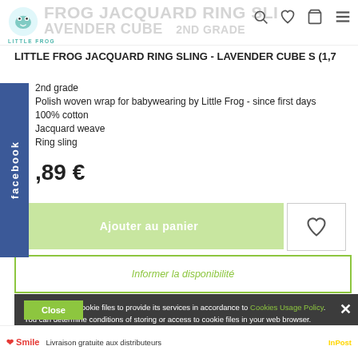LITTLE FROG JACQUARD RING SLINGS - LAVENDER CUBE - 2nd grade
LITTLE FROG JACQUARD RING SLING - LAVENDER CUBE S (1,7
2nd grade
Polish woven wrap for babywearing by Little Frog - since first days
100% cotton
Jacquard weave
Ring sling
,89 €
Ajouter au panier
Informer la disponibilité
This page uses cookie files to provide its services in accordance to Cookies Usage Policy. You can determine conditions of storing or access to cookie files in your web browser.
Close
Livraison gratuite aux distributeurs